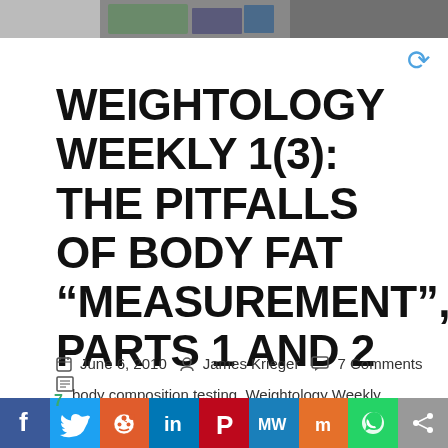[Figure (photo): Partial view of a photo strip at the top of the page showing indistinct objects]
WEIGHTOLOGY WEEKLY 1(3): THE PITFALLS OF BODY FAT “MEASUREMENT”, PARTS 1 AND 2
June 6, 2010   James Krieger   7 Comments
body composition testing, Weightology Weekly